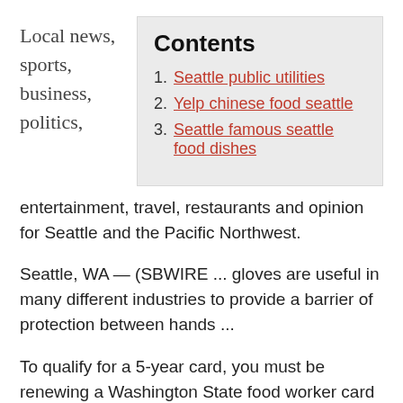Local news, sports, business, politics,
Contents
1. Seattle public utilities
2. Yelp chinese food seattle
3. Seattle famous seattle food dishes
entertainment, travel, restaurants and opinion for Seattle and the Pacific Northwest.
Seattle, WA — (SBWIRE ... gloves are useful in many different industries to provide a barrier of protection between hands ...
To qualify for a 5-year card, you must be renewing a Washington State food worker card that is not